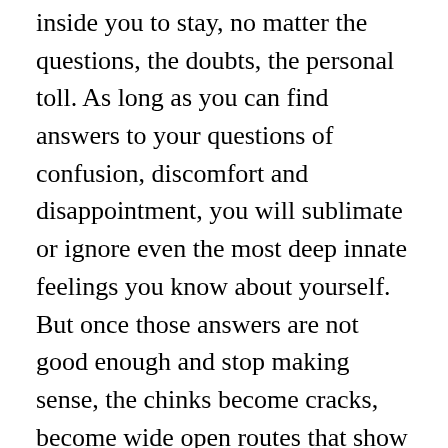inside you to stay, no matter the questions, the doubts, the personal toll. As long as you can find answers to your questions of confusion, discomfort and disappointment, you will sublimate or ignore even the most deep innate feelings you know about yourself. But once those answers are not good enough and stop making sense, the chinks become cracks, become wide open routes that show you the way out.
I found this book so compelling in its openness and honesty that I read it straight through. I appreciated Lax's attention to the details of her inner and outer life that reflected her conflicts as a lesbian living as a